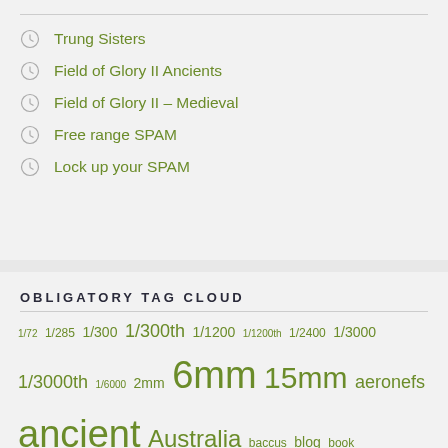Trung Sisters
Field of Glory II Ancients
Field of Glory II – Medieval
Free range SPAM
Lock up your SPAM
OBLIGATORY TAG CLOUD
1/72 1/285 1/300 1/300th 1/1200 1/1200th 1/2400 1/3000 1/3000th 1/6000 2mm 6mm 15mm aeronefs ancient Australia baccus blog book Books Canberra cancon Cancon 2013 cheeseburger China DBA General